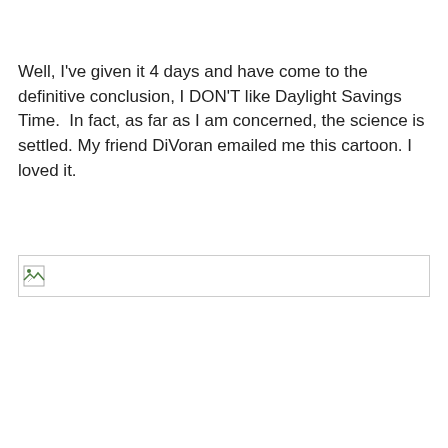Well, I've given it 4 days and have come to the definitive conclusion, I DON'T like Daylight Savings Time.  In fact, as far as I am concerned, the science is settled. My friend DiVoran emailed me this cartoon. I loved it.
[Figure (illustration): Broken image placeholder — a cartoon image that failed to load, shown as a small broken image icon with a border.]